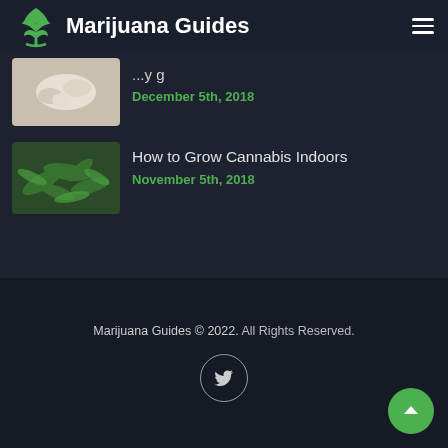Marijuana Guides
[Figure (photo): Partial thumbnail of article above, showing white pills/capsules]
December 5th, 2018
[Figure (photo): Thumbnail of cannabis plant with green leaves]
How to Grow Cannabis Indoors
November 5th, 2018
Marijuana Guides © 2022. All Rights Reserved.